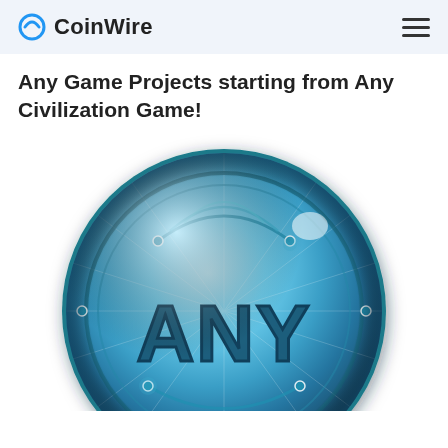CoinWire
Any Game Projects starting from Any Civilization Game!
[Figure (illustration): A large blue metallic coin with the text 'ANY' embossed on it, featuring circuit-like design elements and a glossy finish with light reflections.]